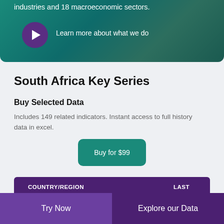[Figure (screenshot): Teal/green background banner with a purple play button circle and white text 'Learn more about what we do', partial text 'industries and 18 macroeconomic sectors.']
South Africa Key Series
Buy Selected Data
Includes 149 related indicators. Instant access to full history data in excel.
Buy for $99
| COUNTRY/REGION | LAST |
| --- | --- |
Try Now    Explore our Data